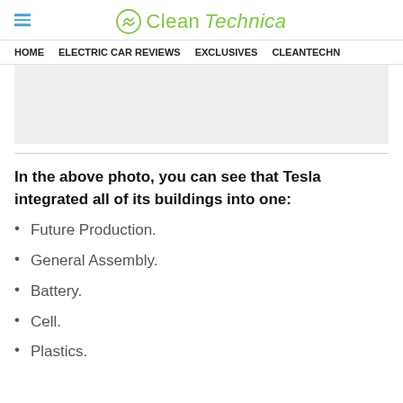CleanTechnica
HOME | ELECTRIC CAR REVIEWS | EXCLUSIVES | CLEANTECHN
[Figure (other): Gray advertisement placeholder banner]
In the above photo, you can see that Tesla integrated all of its buildings into one:
Future Production.
General Assembly.
Battery.
Cell.
Plastics.